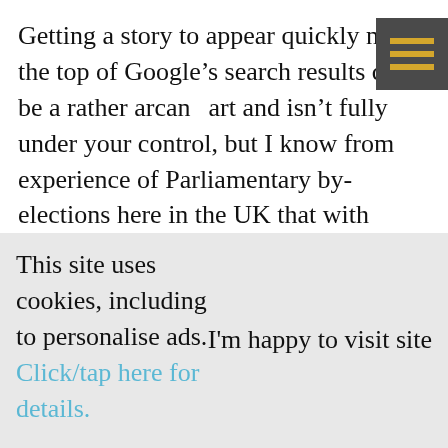Getting a story to appear quickly near the top of Google’s search results can be a rather arcane art and isn’t fully under your control, but I know from experience of Parliamentary by-elections here in the UK that with careful preparation and execution, you can get the story about your candidate (or the other party’s candidate) up near the top of Google search
This site uses cookies, including to personalise ads. I’m happy to visit site
Click/tap here for details.